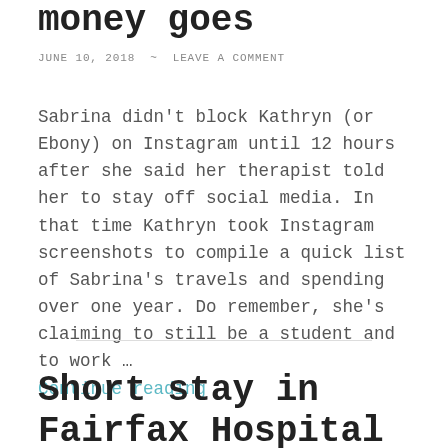money goes
JUNE 10, 2018 ~ LEAVE A COMMENT
Sabrina didn't block Kathryn (or Ebony) on Instagram until 12 hours after she said her therapist told her to stay off social media. In that time Kathryn took Instagram screenshots to compile a quick list of Sabrina's travels and spending over one year. Do remember, she's claiming to still be a student and to work …
Continue reading
Short stay in Fairfax Hospital / Social Media I